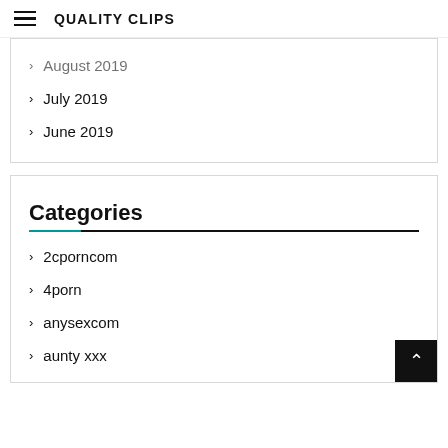QUALITY CLIPS
August 2019
July 2019
June 2019
Categories
2cporncom
4porn
anysexcom
aunty xxx